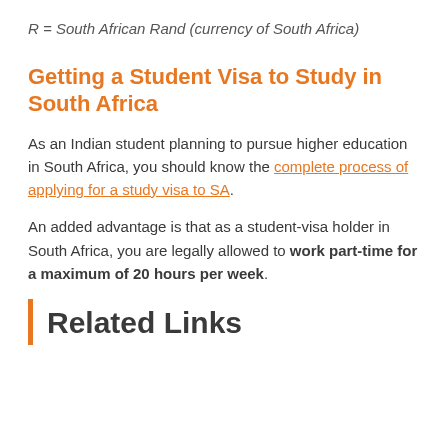R = South African Rand (currency of South Africa)
Getting a Student Visa to Study in South Africa
As an Indian student planning to pursue higher education in South Africa, you should know the complete process of applying for a study visa to SA.
An added advantage is that as a student-visa holder in South Africa, you are legally allowed to work part-time for a maximum of 20 hours per week.
Related Links